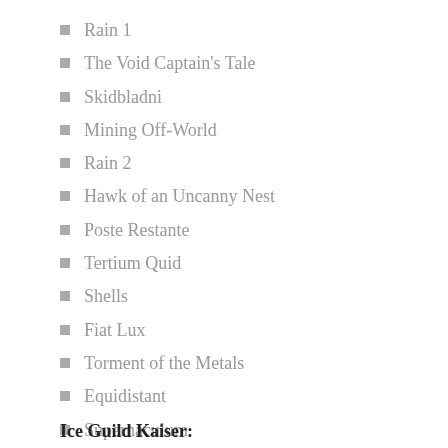Rain 1
The Void Captain's Tale
Skidbladni
Mining Off-World
Rain 2
Hawk of an Uncanny Nest
Poste Restante
Tertium Quid
Shells
Fiat Lux
Torment of the Metals
Equidistant
Supernaculum
Ice Guild Kaiser: